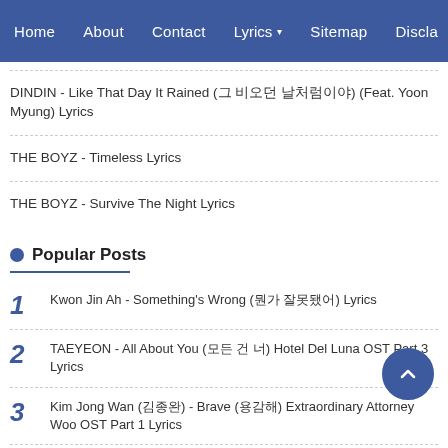Home  About  Contact  Lyrics ▾  Sitemap  Discla…
DINDIN - Like That Day It Rained (그 비오던 날처럼이야) (Feat. Yoon Myung) Lyrics
THE BOYZ - Timeless Lyrics
THE BOYZ - Survive The Night Lyrics
Popular Posts
1  Kwon Jin Ah - Something's Wrong (뭔가 잘못됐어) Lyrics
2  TAEYEON - All About You (모든 건 너) Hotel Del Luna OST Part 3 Lyrics
3  Kim Jong Wan (김종완) - Brave (용감해) Extraordinary Attorney Woo OST Part 1 Lyrics
4  MSG Wannabe (M.O.M) - Do You Want to Hear (들어볼래요) Lyrics